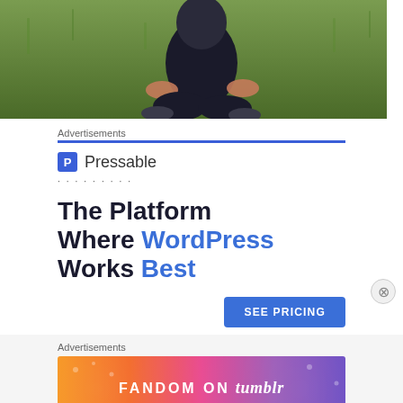[Figure (photo): Partial photo of a person sitting cross-legged on grass, seen from waist down, wearing dark clothing]
Advertisements
[Figure (infographic): Pressable advertisement: logo with P icon, dotted line, headline 'The Platform Where WordPress Works Best', blue SEE PRICING button]
Advertisements
[Figure (infographic): Fandom on tumblr banner advertisement with colorful gradient background from orange to purple]